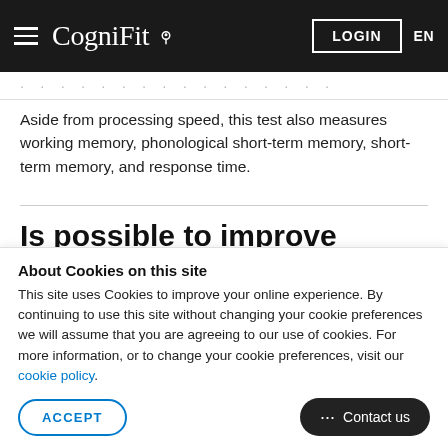CogniFit — LOGIN EN
Aside from processing speed, this test also measures working memory, phonological short-term memory, short-term memory, and response time.
Is possible to improve cognitive processing speed?
Definitely. Like with any other cognitive ability, you can train, learn, and improve processing speed, and CogniFit may help
About Cookies on this site
This site uses Cookies to improve your online experience. By continuing to use this site without changing your cookie preferences we will assume that you are agreeing to our use of cookies. For more information, or to change your cookie preferences, visit our cookie policy.